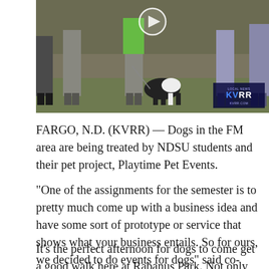[Figure (screenshot): Video thumbnail showing people with dogs at an outdoor event. A play button is visible at the top center. KVRR local news logo is in the bottom right corner.]
FARGO, N.D. (KVRR) — Dogs in the FM area are being treated by NDSU students and their pet project, Playtime Pet Events.
“One of the assignments for the semester is to pretty much come up with a business idea and have some sort of prototype or service that shows what your business entails. So for ours, we decided to do events for dogs” said co-creator, Tanaya Hopkins
It’s the perfect afternoon for dogs to come get a good walk here at Rabanus Park. Not only are